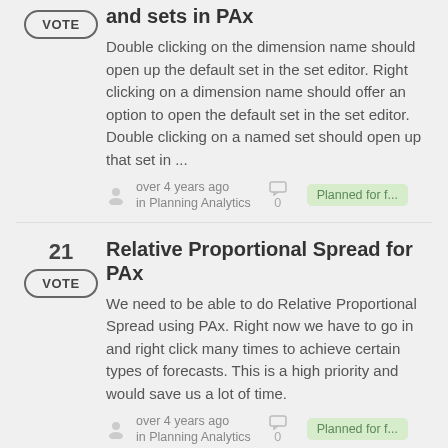and sets in PAx
Double clicking on the dimension name should open up the default set in the set editor. Right clicking on a dimension name should offer an option to open the default set in the set editor. Double clicking on a named set should open up that set in ...
over 4 years ago in Planning Analytics · 0 · Planned for f...
Relative Proportional Spread for PAx
We need to be able to do Relative Proportional Spread using PAx. Right now we have to go in and right click many times to achieve certain types of forecasts. This is a high priority and would save us a lot of time.
over 4 years ago in Planning Analytics · 0 · Planned for f...